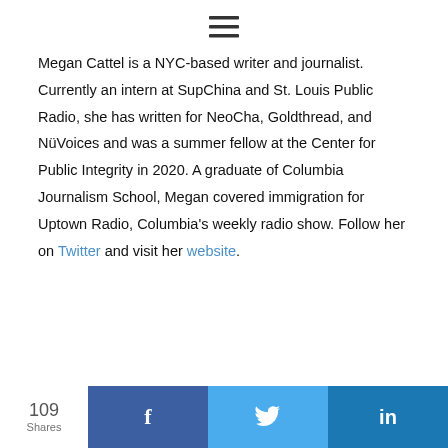≡ (hamburger menu icon)
Megan Cattel is a NYC-based writer and journalist. Currently an intern at SupChina and St. Louis Public Radio, she has written for NeoCha, Goldthread, and NüVoices and was a summer fellow at the Center for Public Integrity in 2020. A graduate of Columbia Journalism School, Megan covered immigration for Uptown Radio, Columbia's weekly radio show. Follow her on Twitter and visit her website.
109 Shares | Facebook | Twitter | LinkedIn